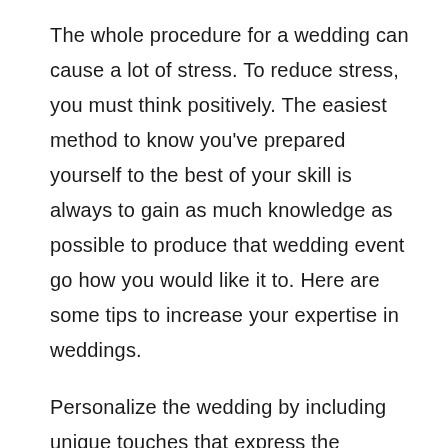The whole procedure for a wedding can cause a lot of stress. To reduce stress, you must think positively. The easiest method to know you've prepared yourself to the best of your skill is always to gain as much knowledge as possible to produce that wedding event go how you would like it to. Here are some tips to increase your expertise in weddings.
Personalize the wedding by including unique touches that express the essence and interests of both you and your new spouse. Pick a theme that matches your time and effort together!